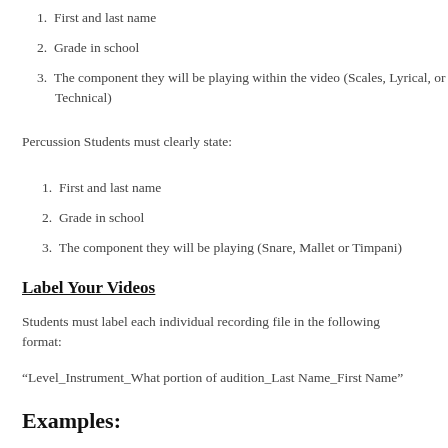1. First and last name
2. Grade in school
3. The component they will be playing within the video (Scales, Lyrical, or Technical)
Percussion Students must clearly state:
1. First and last name
2. Grade in school
3. The component they will be playing (Snare, Mallet or Timpani)
Label Your Videos
Students must label each individual recording file in the following format:
“Level_Instrument_What portion of audition_Last Name_First Name”
Examples: